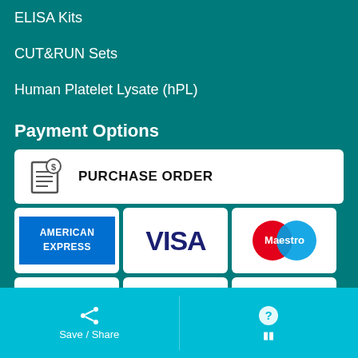ELISA Kits
CUT&RUN Sets
Human Platelet Lysate (hPL)
Payment Options
[Figure (infographic): Payment options panel showing PURCHASE ORDER button and credit card logos: American Express, Visa, Maestro, MasterCard, Diners Club, JCB, and a partial row at bottom]
Save / Share  |  menu